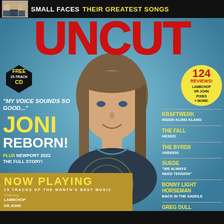SMALL FACES THEIR GREATEST SONGS
UNCUT
[Figure (photo): Portrait photo of Joni Mitchell, young woman with straight brown hair and bangs, smiling, blue background]
[Figure (other): FREE 15-TRACK CD badge in guitar pick shape]
"MY VOICE SOUNDS SO GOOD..."
JONI
REBORN!
PLUS NEWPORT 2022 THE FULL STORY!
[Figure (other): Yellow circle badge: 124 REVIEWS! LAMBCHOP DR JOHN PIXIES + MORE!]
KRAFTWERK INSIDE KLING KLANG
THE FALL HEXED!
THE BYRDS UNSEEN!
SUEDE "WE ALWAYS NEED TENSION"
BONNY LIGHT HORSEMAN BACK IN THE SADDLE
GREG DULL
NOW PLAYING
15 TRACKS OF THE MONTH'S BEST MUSIC
Featuring LAMBCHOP DR JOHN